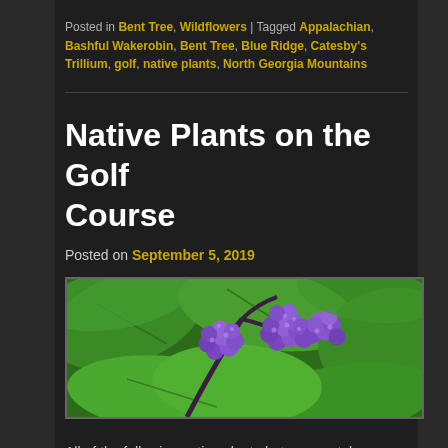Posted in Bent Tree, Wildflowers | Tagged Appalachian, Bashful Wakerobin, Bent Tree, Blue Ridge, Catesby's Trillium, golf, native plants, North Georgia Mountains
Native Plants on the Golf Course
Posted on September 5, 2019
[Figure (photo): Photo of purple/violet beautyberries (Callicarpa americana) clusters on a dark stem surrounded by large green leaves, taken on the Bent Tree Golf Course.]
All of the following native plant photos were taken Saturday on a single hole of the Bent Tree Golf Course.